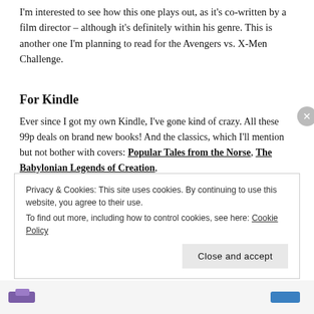I'm interested to see how this one plays out, as it's co-written by a film director – although it's definitely within his genre. This is another one I'm planning to read for the Avengers vs. X-Men Challenge.
For Kindle
Ever since I got my own Kindle, I've gone kind of crazy. All these 99p deals on brand new books! And the classics, which I'll mention but not bother with covers: Popular Tales from the Norse, The Babylonian Legends of Creation,
Privacy & Cookies: This site uses cookies. By continuing to use this website, you agree to their use.
To find out more, including how to control cookies, see here: Cookie Policy
Close and accept